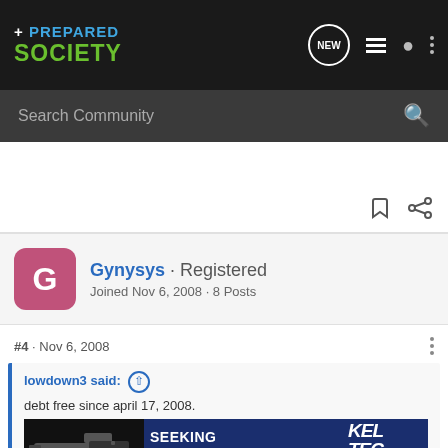[Figure (screenshot): Prepared Society forum website header with logo, navigation icons (NEW, list, user, dots)]
Search Community
Gynysys · Registered
Joined Nov 6, 2008 · 8 Posts
#4 · Nov 6, 2008
lowdown3 said: ↑
debt free since april 17, 2008.
Lowdo
[Figure (infographic): Kel-Tec CP33 pistol advertisement: SEEKING LONG RANGE RELATIONSHIP, THE CP33 PISTOL]